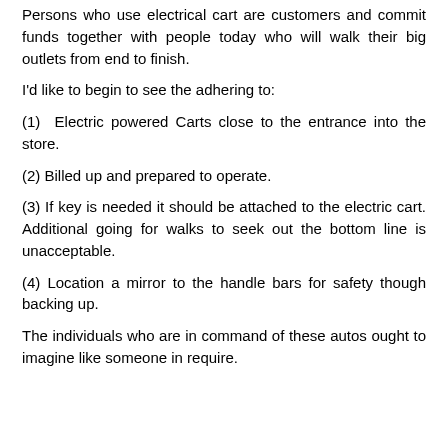Persons who use electrical cart are customers and commit funds together with people today who will walk their big outlets from end to finish.
I'd like to begin to see the adhering to:
(1) Electric powered Carts close to the entrance into the store.
(2) Billed up and prepared to operate.
(3) If key is needed it should be attached to the electric cart. Additional going for walks to seek out the bottom line is unacceptable.
(4) Location a mirror to the handle bars for safety though backing up.
The individuals who are in command of these autos ought to imagine like someone in require.